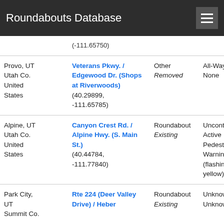Roundabouts Database
| Location | Name/Coordinates | Type/Status | Control | Details |
| --- | --- | --- | --- | --- |
| (partial) United States | (40.xxxxx, -111.65750) |  |  |  |
| Provo, UT Utah Co. United States | Veterans Pkwy. / Edgewood Dr. (Shops at Riverwoods) (40.29899, -111.65785) | Other Removed | All-Way Yield None | 3 App 0 Dri 32.0 |
| Alpine, UT Utah Co. United States | Canyon Crest Rd. / Alpine Hwy. (S. Main St.) (40.44784, -111.77840) | Roundabout Existing | Uncontrolled Active Pedestrian Warning (flashing yellow) | 4 App 0 Dri 42.7 |
| Park City, UT Summit Co. | Rte 224 (Deer Valley Drive) / Heber | Roundabout Existing | Unknown Unknown | 4 App 0 Dri 46.2 |